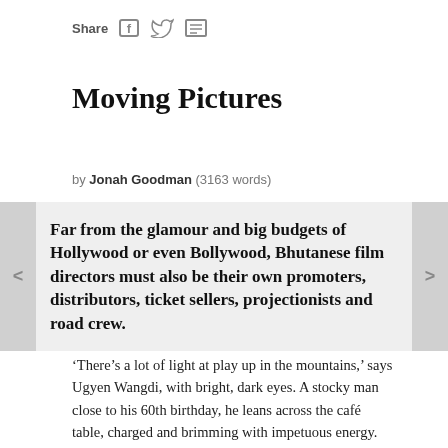Share
Moving Pictures
by Jonah Goodman (3163 words)
Far from the glamour and big budgets of Hollywood or even Bollywood, Bhutanese film directors must also be their own promoters, distributors, ticket sellers, projectionists and road crew.
‘There’s a lot of light at play up in the mountains,’ says Ugyen Wangdi, with bright, dark eyes. A stocky man close to his 60th birthday, he leans across the café table, charged and brimming with impetuous energy.